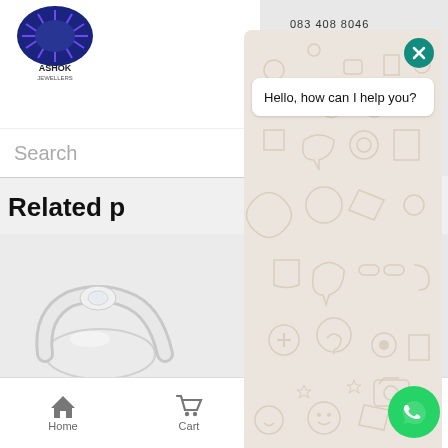[Figure (screenshot): Ashok Jewellers website with WhatsApp chat overlay. Website shows logo, search bar, Related products section with a silver ring, Women's Rings category, Round Brilliant Diamond Solitaire 281 product name, R16,900.00 price, and bottom navigation with Home, Cart, Enquire. Overlaid WhatsApp chat widget shows 'Hello, how can I help you?' message bubble, input field, send button, and WhatsApp floating action button.]